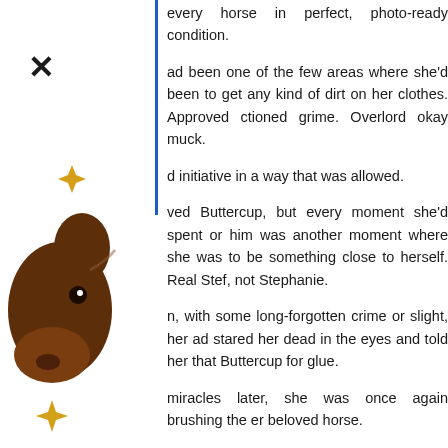[Figure (illustration): Cartoon illustration of a brown horse head with golden sparkle/diamond decorations and an X mark in the upper left area, positioned on the left side of the page]
every horse in perfect, photo-ready condition.
had been one of the few areas where she'd been to get any kind of dirt on her clothes. Approved ctioned grime. Overlord okay muck.
d initiative in a way that was allowed.
ved Buttercup, but every moment she'd spent or him was another moment where she was to be something close to herself. Real Stef, not Stephanie.
n, with some long-forgotten crime or slight, her ad stared her dead in the eyes and told her that Buttercup for glue.
miracles later, she was once again brushing the er beloved horse.
anor and stables had sufficient sim stablehands to